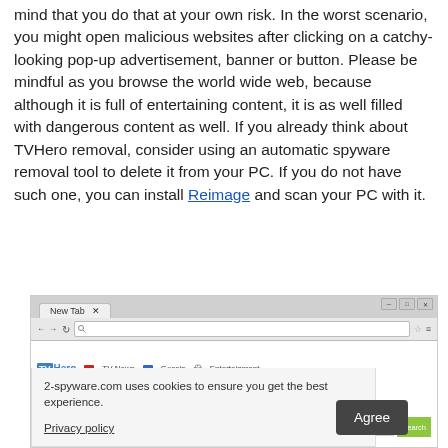mind that you do that at your own risk. In the worst scenario, you might open malicious websites after clicking on a catchy-looking pop-up advertisement, banner or button. Please be mindful as you browse the world wide web, because although it is full of entertaining content, it is as well filled with dangerous content as well. If you already think about TVHero removal, consider using an automatic spyware removal tool to delete it from your PC. If you do not have such one, you can install Reimage and scan your PC with it.
[Figure (screenshot): Screenshot of a browser showing the TVHero new tab extension page with a cookie consent banner overlay containing 'Agree' button and Privacy policy link, plus a search bar with Search button.]